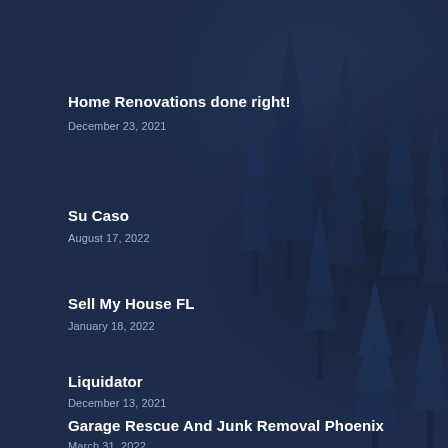Home Renovations done right!
December 23, 2021
Su Caso
August 17, 2022
Sell My House FL
January 18, 2022
Liquidator
December 13, 2021
Garage Rescue And Junk Removal Phoenix
March 31, 2022